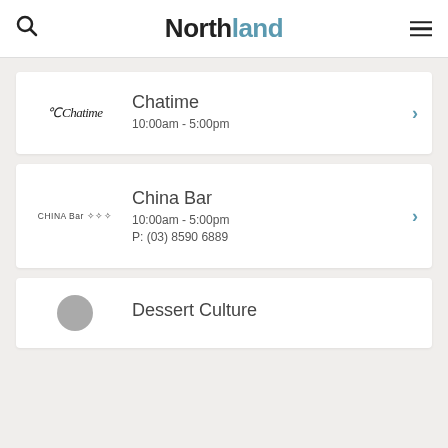Northland
Chatime
10:00am - 5:00pm
China Bar
10:00am - 5:00pm
P: (03) 8590 6889
Dessert Culture